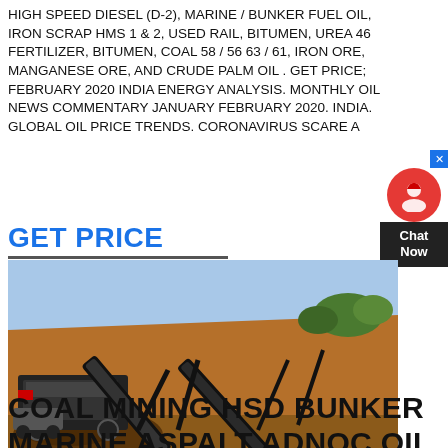HIGH SPEED DIESEL (D-2), MARINE / BUNKER FUEL OIL, IRON SCRAP HMS 1 & 2, USED RAIL, BITUMEN, UREA 46 FERTILIZER, BITUMEN, COAL 58 / 56 63 / 61, IRON ORE, MANGANESE ORE, AND CRUDE PALM OIL . GET PRICE; FEBRUARY 2020 INDIA ENERGY ANALYSIS. MONTHLY OIL NEWS COMMENTARY JANUARY FEBRUARY 2020. INDIA. GLOBAL OIL PRICE TRENDS. CORONAVIRUS SCARE A
GET PRICE
[Figure (photo): Outdoor mining/crushing equipment scene with conveyor belts and machinery on a dirt site with a hill and trees in the background.]
COAL MINING HSD BUNKER MARINE ASPALT ADNOC OIL